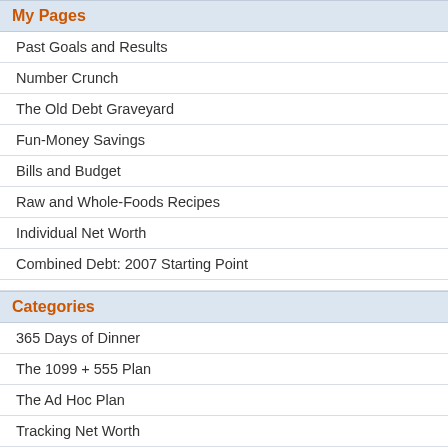My Pages
Past Goals and Results
Number Crunch
The Old Debt Graveyard
Fun-Money Savings
Bills and Budget
Raw and Whole-Foods Recipes
Individual Net Worth
Combined Debt: 2007 Starting Point
Categories
365 Days of Dinner
The 1099 + 555 Plan
The Ad Hoc Plan
Tracking Net Worth
Uncategorized
Archives
Aug 2022
Apr 2022